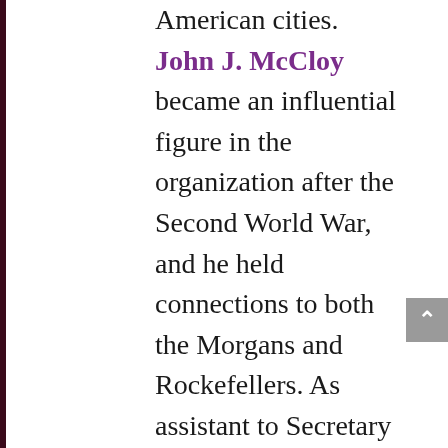American cities. John J. McCloy became an influential figure in the organization after the Second World War, and he held connections to both the Morgans and Rockefellers. As assistant to Secretary of War (and J. P. Morgan attorney) Henry Stimson during World War II, he had presided over important American war policies; his brother-in-law John Zinsser was on the board of directors of JP Morgan & Co. during that time, and after the war McCloy joined New York law firm Milbank, Tweed, Hope, Hadley & McCloy as a partner. The company had long served as legal counsel to the Rockefeller family and the Chase Manhattan bank. McCloy